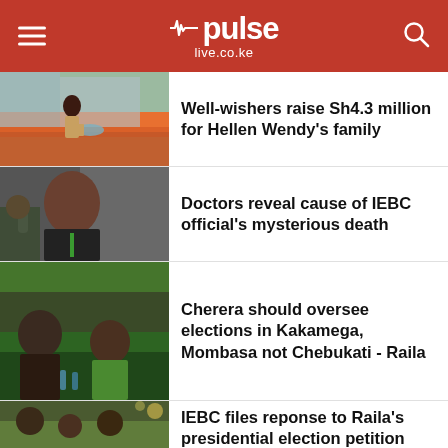pulse live.co.ke
Well-wishers raise Sh4.3 million for Hellen Wendy's family
Doctors reveal cause of IEBC official's mysterious death
Cherera should oversee elections in Kakamega, Mombasa not Chebukati - Raila
IEBC files reponse to Raila's presidential election petition